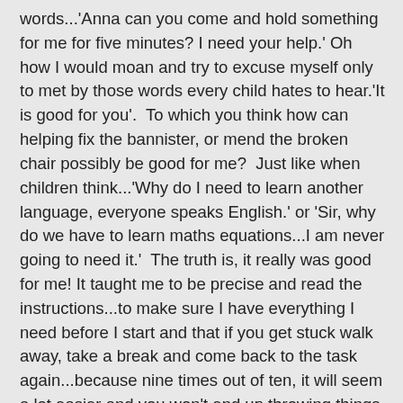words...'Anna can you come and hold something for me for five minutes? I need your help.' Oh how I would moan and try to excuse myself only to met by those words every child hates to hear.'It is good for you'.  To which you think how can helping fix the bannister, or mend the broken chair possibly be good for me?  Just like when children think...'Why do I need to learn another language, everyone speaks English.' or 'Sir, why do we have to learn maths equations...I am never going to need it.'  The truth is, it really was good for me! It taught me to be precise and read the instructions...to make sure I have everything I need before I start and that if you get stuck walk away, take a break and come back to the task again...because nine times out of ten, it will seem a lot easier and you won't end up throwing things across the room in anger!